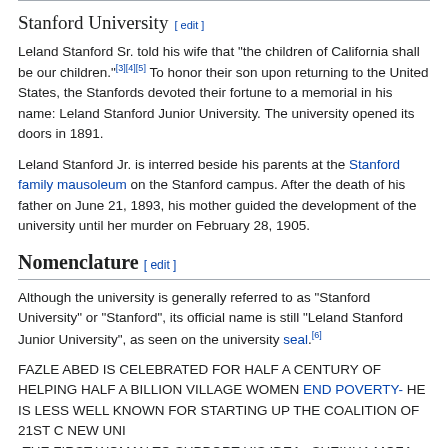Stanford University [edit]
Leland Stanford Sr. told his wife that "the children of California shall be our children."[3][4][5] To honor their son upon returning to the United States, the Stanfords devoted their fortune to a memorial in his name: Leland Stanford Junior University. The university opened its doors in 1891.
Leland Stanford Jr. is interred beside his parents at the Stanford family mausoleum on the Stanford campus. After the death of his father on June 21, 1893, his mother guided the development of the university until her murder on February 28, 1905.
Nomenclature [edit]
Although the university is generally referred to as "Stanford University" or "Stanford", its official name is still "Leland Stanford Junior University", as seen on the university seal.[6]
FAZLE ABED IS CELEBRATED FOR HALF A CENTURY OF HELPING HALF A BILLION VILLAGE WOMEN END POVERTY- HE IS LESS WELL KNOWN FOR STARTING UP THE COALITION OF 21ST C NEW UNI -THE FIRST WOMAN TO SUPPORT HIS IDEA : SHEIKHA MOZA FIRST LADY OF QATAR